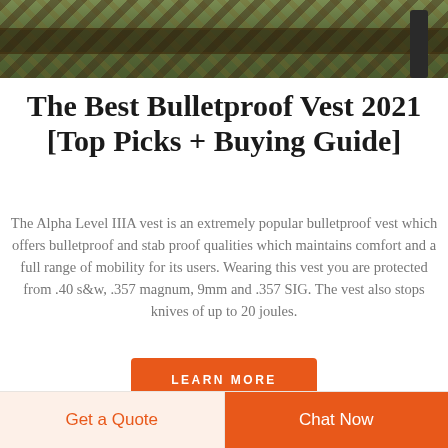[Figure (photo): Top portion of a military-style bulletproof vest in camouflage pattern with a dark strap visible on the right side]
The Best Bulletproof Vest 2021 [Top Picks + Buying Guide]
The Alpha Level IIIA vest is an extremely popular bulletproof vest which offers bulletproof and stab proof qualities which maintains comfort and a full range of mobility for its users. Wearing this vest you are protected from .40 s&w, .357 magnum, 9mm and .357 SIG. The vest also stops knives of up to 20 joules.
LEARN MORE
Get a Quote
Chat Now